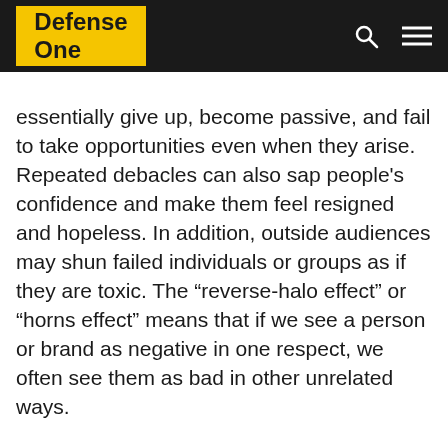Defense One
essentially give up, become passive, and fail to take opportunities even when they arise. Repeated debacles can also sap people's confidence and make them feel resigned and hopeless. In addition, outside audiences may shun failed individuals or groups as if they are toxic. The “reverse-halo effect” or “horns effect” means that if we see a person or brand as negative in one respect, we often see them as bad in other unrelated ways.
ISIS is especially vulnerable to the loser effect because of its claims of divine mission. Nationalist groups like the Syrian Kurdish YPG represent a flesh-and-blood people. If the YPG is forced to retreat, and the homeland is threatened, its rallying cry may become even more compelling. But ISIS’s allure hinges on the authority of its religious claims. Withdrawal could